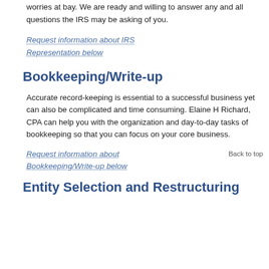representation you can find with our firm can put many of your worries at bay. We are ready and willing to answer any and all questions the IRS may be asking of you.
Request information about IRS Representation below
Bookkeeping/Write-up
Accurate record-keeping is essential to a successful business yet can also be complicated and time consuming. Elaine H Richard, CPA can help you with the organization and day-to-day tasks of bookkeeping so that you can focus on your core business.
Request information about Bookkeeping/Write-up below
Back to top
Entity Selection and Restructuring